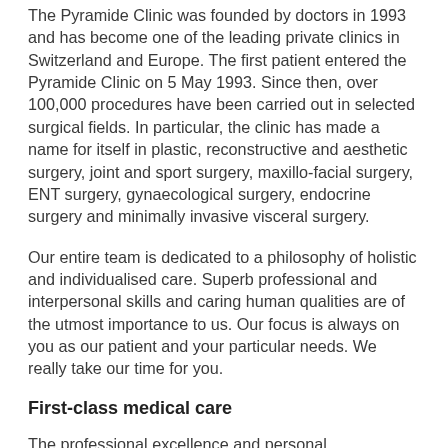The Pyramide Clinic was founded by doctors in 1993 and has become one of the leading private clinics in Switzerland and Europe. The first patient entered the Pyramide Clinic on 5 May 1993. Since then, over 100,000 procedures have been carried out in selected surgical fields. In particular, the clinic has made a name for itself in plastic, reconstructive and aesthetic surgery, joint and sport surgery, maxillo-facial surgery, ENT surgery, gynaecological surgery, endocrine surgery and minimally invasive visceral surgery.
Our entire team is dedicated to a philosophy of holistic and individualised care. Superb professional and interpersonal skills and caring human qualities are of the utmost importance to us. Our focus is always on you as our patient and your particular needs. We really take our time for you.
First-class medical care
The professional excellence and personal